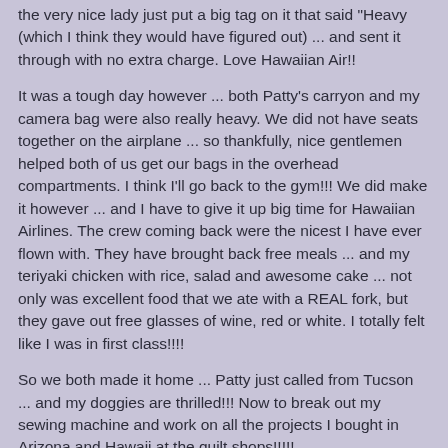the very nice lady just put a big tag on it that said "Heavy" (which I think they would have figured out) ... and sent it through with no extra charge.  Love Hawaiian Air!!
It was a tough day however ... both Patty's carryon and my camera bag were also really heavy. We did not have seats together on the airplane ... so thankfully, nice gentlemen helped both of us get our bags in the overhead compartments.  I think I'll go back to the gym!!!  We did make it however ... and I have to give it up big time for Hawaiian Airlines.  The crew coming back were the nicest I have ever flown with.  They have brought back free meals ... and my teriyaki chicken with rice, salad and awesome cake ... not only was excellent food that we ate with a REAL fork, but they gave out free glasses of wine, red or white.  I totally felt like I was in first class!!!!
So we both made it home ... Patty just called from Tucson ... and my doggies are thrilled!!!  Now to break out my sewing machine and work on all the projects I bought in Arizona and Hawaii at the quilt shops!!!!!